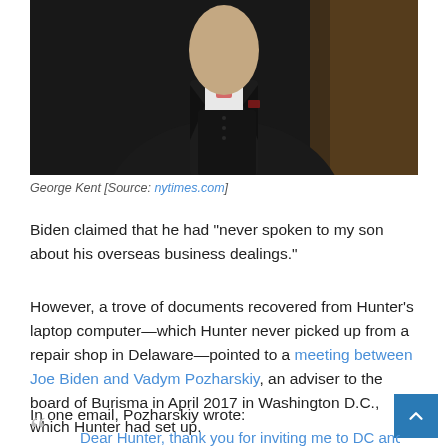[Figure (photo): Photo of George Kent, a man in a dark suit with a white shirt and pocket square, photographed from the chest up against a warm-toned background.]
George Kent [Source: nytimes.com]
Biden claimed that he had “never spoken to my son about his overseas business dealings.”
However, a trove of documents recovered from Hunter’s laptop computer—which Hunter never picked up from a repair shop in Delaware—pointed to a meeting between Joe Biden and Vadym Pozharskiy, an adviser to the board of Burisma in April 2017 in Washington D.C., which Hunter had set up.
In one email, Pozharskiy wrote: